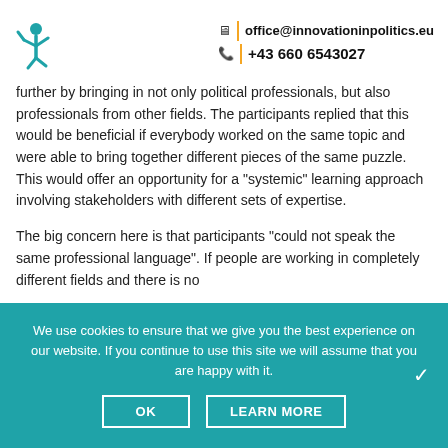office@innovationinpolitics.eu | +43 660 6543027
further by bringing in not only political professionals, but also professionals from other fields. The participants replied that this would be beneficial if everybody worked on the same topic and were able to bring together different pieces of the same puzzle. This would offer an opportunity for a “systemic” learning approach involving stakeholders with different sets of expertise.
The big concern here is that participants “could not speak the same professional language”. If people are working in completely different fields and there is no
We use cookies to ensure that we give you the best experience on our website. If you continue to use this site we will assume that you are happy with it.